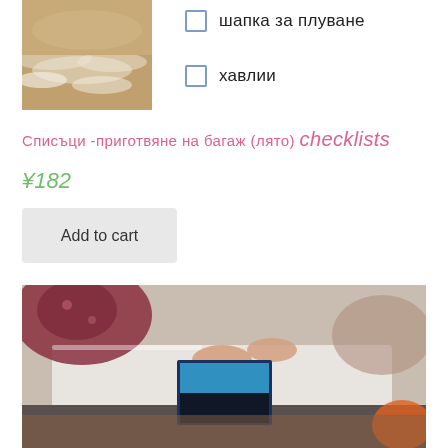[Figure (photo): Beach sand and water/foam close-up photo, positioned top-left]
☐ шапка за плуване
☐ хавлии
Списъци -приготвяне на багаж (лято) checklists
¥182
Add to cart
[Figure (photo): Person packing a suitcase, overhead view, holding a magazine/book, colorful clothing and luggage visible]